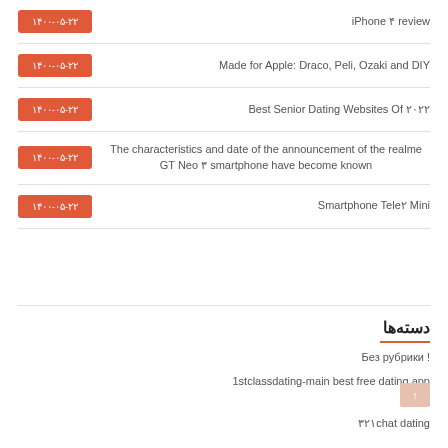iPhone ۴ review — ۱۴۰۰-۰۵-۲۲
Made for Apple: Draco, Peli, Ozaki and DIY — ۱۴۰۰-۰۵-۲۲
Best Senior Dating Websites Of ۲۰۲۲ — ۱۴۰۰-۰۵-۲۲
The characteristics and date of the announcement of the realme GT Neo ۳ smartphone have become known — ۱۴۰۰-۰۵-۲۲
Smartphone Tele۲ Mini — ۱۴۰۰-۰۵-۲۲
دسته‌ها
Без рубрики !
1stclassdating-main best free dating app
۳۲۱chat dating